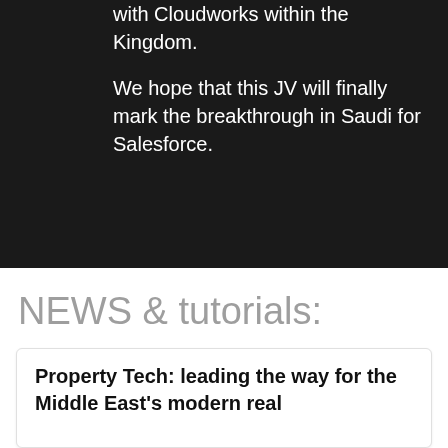with Cloudworks within the Kingdom.

We hope that this JV will finally mark the breakthrough in Saudi for Salesforce.
NEWS & tutorials:
Property Tech: leading the way for the Middle East's modern real